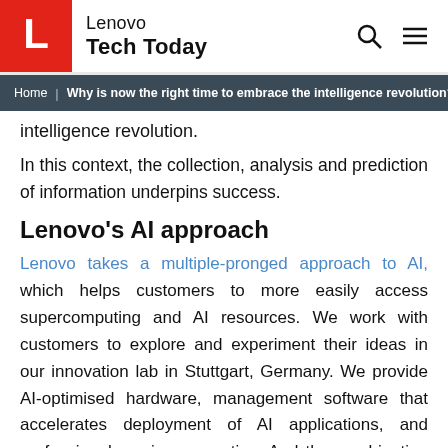Lenovo Tech Today
Home | Why is now the right time to embrace the intelligence revolution?
intelligence revolution.
In this context, the collection, analysis and prediction of information underpins success.
Lenovo's AI approach
Lenovo takes a multiple-pronged approach to AI, which helps customers to more easily access supercomputing and AI resources. We work with customers to explore and experiment their ideas in our innovation lab in Stuttgart, Germany. We provide AI-optimised hardware, management software that accelerates deployment of AI applications, and professional services expertise. And the combination offers customers of all sizes a complete, end-to-end and cost-effective path to extracting real value